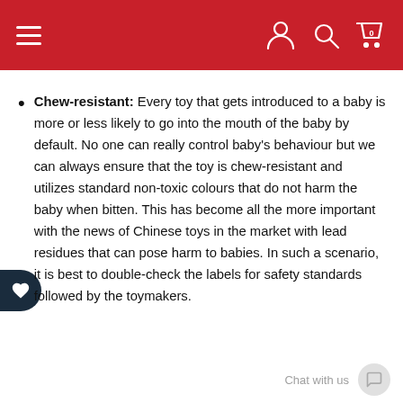Navigation header with hamburger menu, user icon, search icon, and cart icon (0 items)
Chew-resistant: Every toy that gets introduced to a baby is more or less likely to go into the mouth of the baby by default. No one can really control baby's behaviour but we can always ensure that the toy is chew-resistant and utilizes standard non-toxic colours that do not harm the baby when bitten. This has become all the more important with the news of Chinese toys in the market with lead residues that can pose harm to babies. In such a scenario, it is best to double-check the labels for safety standards followed by the toymakers.